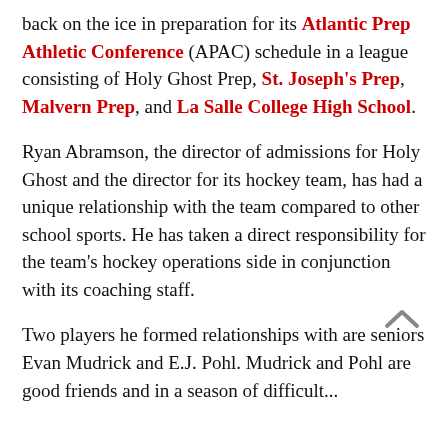back on the ice in preparation for its Atlantic Prep Athletic Conference (APAC) schedule in a league consisting of Holy Ghost Prep, St. Joseph's Prep, Malvern Prep, and La Salle College High School.
Ryan Abramson, the director of admissions for Holy Ghost and the director for its hockey team, has had a unique relationship with the team compared to other school sports. He has taken a direct responsibility for the team's hockey operations side in conjunction with its coaching staff.
Two players he formed relationships with are seniors Evan Mudrick and E.J. Pohl. Mudrick and Pohl are good friends and in a season of difficult...